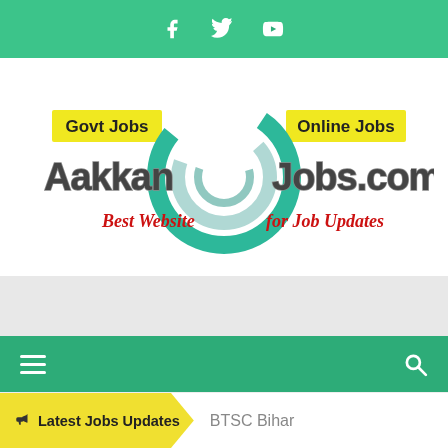Social icons bar (Facebook, Twitter, YouTube)
[Figure (logo): AakkanJobs.com logo with circular swirl graphic, 'Govt Jobs' and 'Online Jobs' yellow labels, and tagline 'Best Website for Job Updates' in red italic]
[Figure (other): Gray advertisement/banner placeholder area]
Navigation bar with hamburger menu and search icon
📢 Latest Jobs Updates   BTSC Bihar